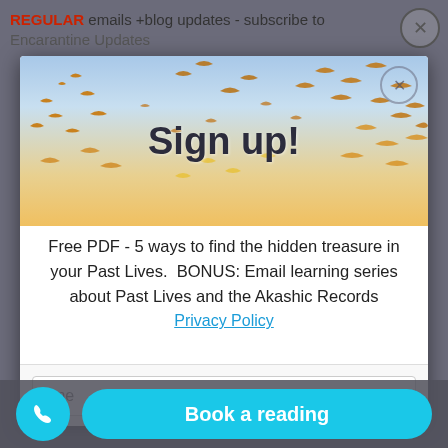REGULAR emails +blog updates - subscribe to Encarantine Updates
[Figure (screenshot): Modal popup with birds flying over a sunset sky background, with 'Sign up!' text overlay]
Free PDF - 5 ways to find the hidden treasure in your Past Lives. BONUS: Email learning series about Past Lives and the Akashic Records
Privacy Policy
Book a reading